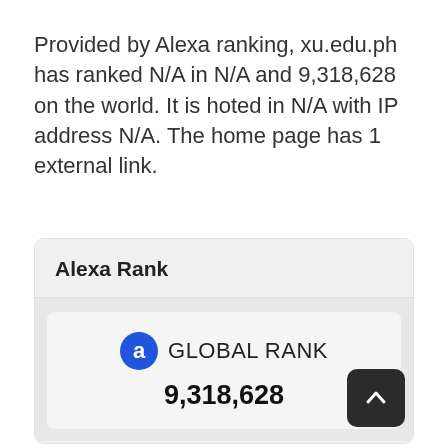Provided by Alexa ranking, xu.edu.ph has ranked N/A in N/A and 9,318,628 on the world. It is hoted in N/A with IP address N/A. The home page has 1 external link.
Alexa Rank
[Figure (infographic): Alexa Global Rank widget showing rank number 9,318,628 with Alexa logo icon and a scroll-to-top button.]